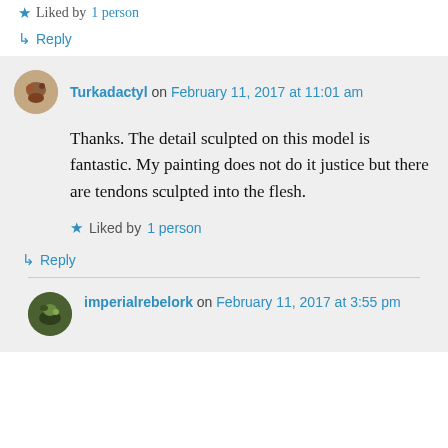★ Liked by 1 person
↳ Reply
Turkadactyl on February 11, 2017 at 11:01 am
Thanks. The detail sculpted on this model is fantastic. My painting does not do it justice but there are tendons sculpted into the flesh.
★ Liked by 1 person
↳ Reply
imperialrebelork on February 11, 2017 at 3:55 pm